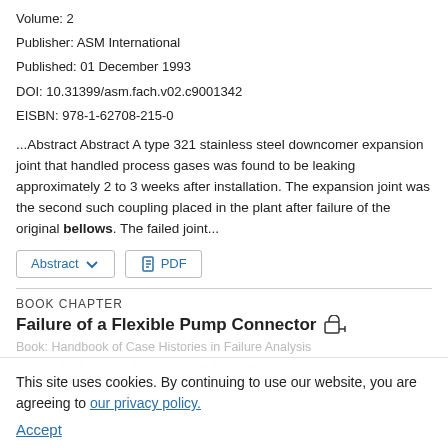Volume: 2
Publisher: ASM International
Published: 01 December 1993
DOI: 10.31399/asm.fach.v02.c9001342
EISBN: 978-1-62708-215-0
...Abstract Abstract A type 321 stainless steel downcomer expansion joint that handled process gases was found to be leaking approximately 2 to 3 weeks after installation. The expansion joint was the second such coupling placed in the plant after failure of the original bellows. The failed joint...
BOOK CHAPTER
Failure of a Flexible Pump Connector
This site uses cookies. By continuing to use our website, you are agreeing to our privacy policy. Accept